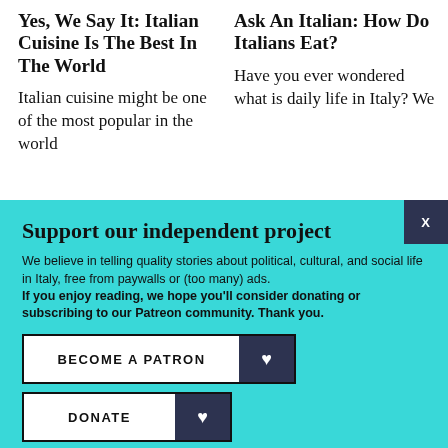Yes, We Say It: Italian Cuisine Is The Best In The World
Italian cuisine might be one of the most popular in the world
Ask An Italian: How Do Italians Eat?
Have you ever wondered what is daily life in Italy? We
Support our independent project
We believe in telling quality stories about political, cultural, and social life in Italy, free from paywalls or (too many) ads. If you enjoy reading, we hope you’ll consider donating or subscribing to our Patreon community. Thank you.
BECOME A PATRON
DONATE
Follow us: Facebook Instagram Twitter